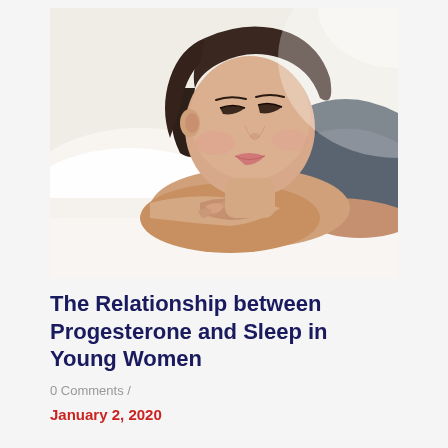[Figure (photo): A young woman with dark hair sleeping peacefully on a white pillow, wearing a dark grey top, with her hands folded under her chin. Soft, bright background.]
The Relationship between Progesterone and Sleep in Young Women
0 Comments /
January 2, 2020